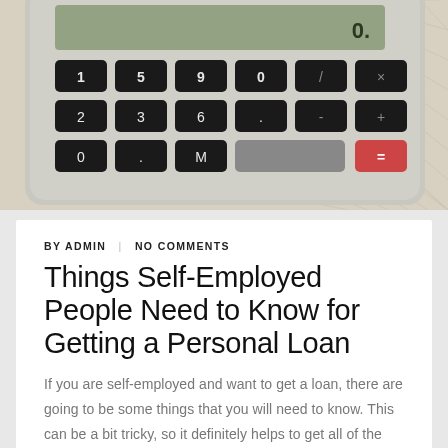[Figure (photo): Close-up photo of a white calculator with black keys on graph paper background]
BY ADMIN | NO COMMENTS
Things Self-Employed People Need to Know for Getting a Personal Loan
If you are self-employed and want to get a loan, there are going to be some things that you will need to know. This can be a bit tricky, so it definitely helps to get all of the information you can. Thousands of self-employed individuals get loans throughout the UK each year, and there are numerous things to consider before applying. This article will help you get through the process of obtaining a loan with minimal effort.